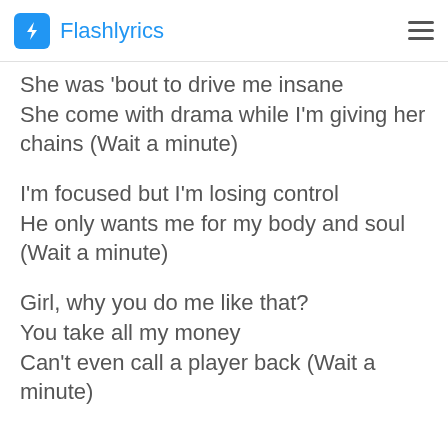Flashlyrics
She was 'bout to drive me insane
She come with drama while I'm giving her chains (Wait a minute)
I'm focused but I'm losing control
He only wants me for my body and soul (Wait a minute)
Girl, why you do me like that?
You take all my money
Can't even call a player back (Wait a minute)